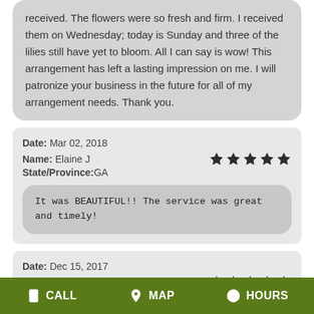received. The flowers were so fresh and firm. I received them on Wednesday; today is Sunday and three of the lilies still have yet to bloom. All I can say is wow! This arrangement has left a lasting impression on me. I will patronize your business in the future for all of my arrangement needs. Thank you.
Date: Mar 02, 2018
Name: Elaine J
State/Province: GA
★★★★★
It was BEAUTIFUL!! The service was great and timely!
Date: Dec 15, 2017
Name: Elizabeth l
★★★★★
CALL  MAP  HOURS